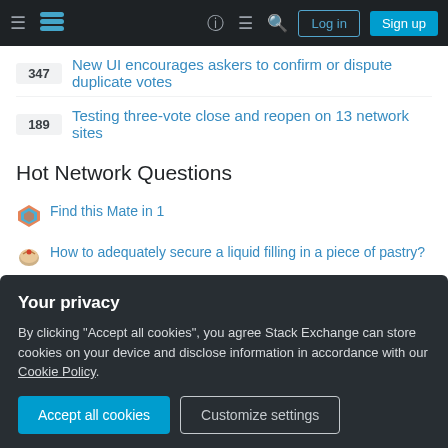Stack Exchange navigation bar with Log in and Sign up buttons
347 New UI encourages askers to confirm or dispute duplicate votes
189 Testing three-vote close and reopen on 13 network sites
Hot Network Questions
Find this Mate in 1
How to adequately secure a liquid filling in a piece of pastry?
Fill one column with information from another column using awk
In trick taking games, terminology for not following suit
An algorithm to find even sublime numbers
Is DNS redirection scenario possible?
Your privacy
By clicking “Accept all cookies”, you agree Stack Exchange can store cookies on your device and disclose information in accordance with our Cookie Policy.
Suppose dragons spewed volcanic ash instead of fire. How much...